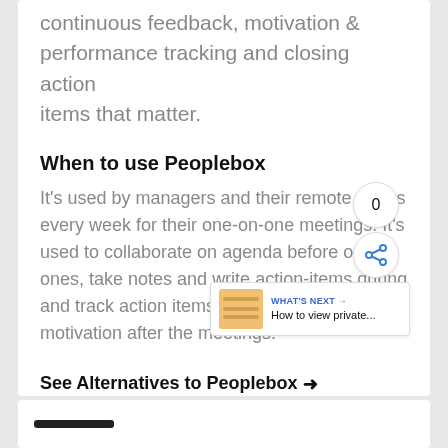continuous feedback, motivation & performance tracking and closing action items that matter.
When to use Peoplebox
It's used by managers and their remote teams every week for their one-on-one meetings. It's used to collaborate on agenda before one on ones, take notes and write action-items during and track action items, feedback, and motivation after the meetings.
See Alternatives to Peoplebox →
See Peoplebox's Competitors →